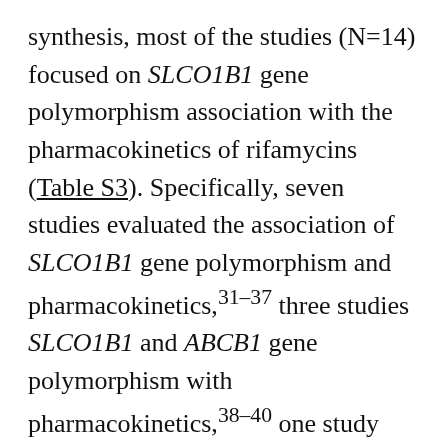synthesis, most of the studies (N=14) focused on SLCO1B1 gene polymorphism association with the pharmacokinetics of rifamycins (Table S3). Specifically, seven studies evaluated the association of SLCO1B1 gene polymorphism and pharmacokinetics,31–37 three studies SLCO1B1 and ABCB1 gene polymorphism with pharmacokinetics,38–40 one study SLCO1B1 and AADAC gene polymorphism with pharmacokinetics,41 one study SLCO1B1, and CES gene polymorphism with pharmacokinetics,42 and two studies SLCO1B1, AADAC, and CES gene polymorphism with pharmacokinetics.43,44 Only one study investigated the association between CES gene polymorphism with pharmacokinetics.45 The